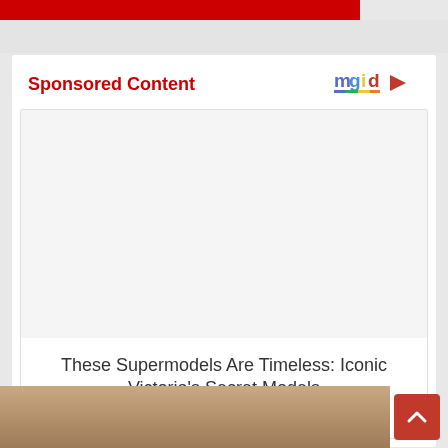[Figure (screenshot): Red banner strip at the top of the page, partially visible]
Sponsored Content
[Figure (logo): mgid logo with colorful underline and play button icon]
[Figure (photo): Empty white card placeholder image area for sponsored content]
These Supermodels Are Timeless: Iconic Victoria's Secret Models
Herbeauty
[Figure (photo): Bottom partial photo showing top of a person's head with light brown hair]